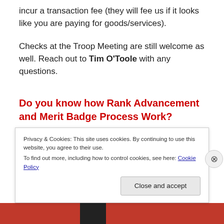incur a transaction fee (they will fee us if it looks like you are paying for goods/services).
Checks at the Troop Meeting are still welcome as well. Reach out to Tim O’Toole with any questions.
Do you know how Rank Advancement and Merit Badge Process Work?
Now that we are fully transitioned to Scoutbook, its a good
Privacy & Cookies: This site uses cookies. By continuing to use this website, you agree to their use.
To find out more, including how to control cookies, see here: Cookie Policy
Close and accept